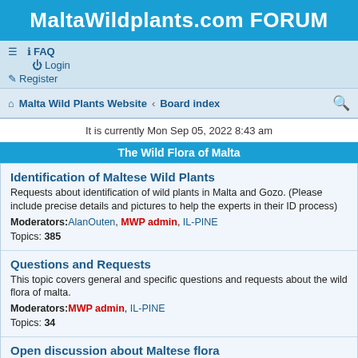MaltaWildplants.com FORUM
FAQ  Login  Register  Malta Wild Plants Website  Board index
It is currently Mon Sep 05, 2022 8:43 am
The Wild Flora of Malta
Identification of Maltese Wild Plants
Requests about identification of wild plants in Malta and Gozo. (Please include precise details and pictures to help the experts in their ID process)
Moderators: AlanOuten, MWP admin, IL-PINE
Topics: 385
Questions and Requests
This topic covers general and specific questions and requests about the wild flora of malta.
Moderators: MWP admin, IL-PINE
Topics: 34
Open discussion about Maltese flora
Post anything you like about the flora of the Maltese islands.
Moderators: MWP admin, IL-PINE
Topics: 91
Bryophytes
Discussion about Mosses, Liverworts (and Hornworts).
Moderators: MWP admin, IL-PINE
Topics: 13